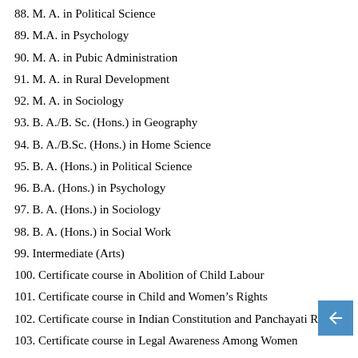88. M. A. in Political Science
89. M.A. in Psychology
90. M. A. in Pubic Administration
91. M. A. in Rural Development
92. M. A. in Sociology
93. B. A./B. Sc. (Hons.) in Geography
94. B. A./B.Sc. (Hons.) in Home Science
95. B. A. (Hons.) in Political Science
96. B.A. (Hons.) in Psychology
97. B. A. (Hons.) in Sociology
98. B. A. (Hons.) in Social Work
99. Intermediate (Arts)
100. Certificate course in Abolition of Child Labour
101. Certificate course in Child and Women’s Rights
102. Certificate course in Indian Constitution and Panchayati Raj
103. Certificate course in Legal Awareness Among Women
104. M. A. in Education
105. B. Ed